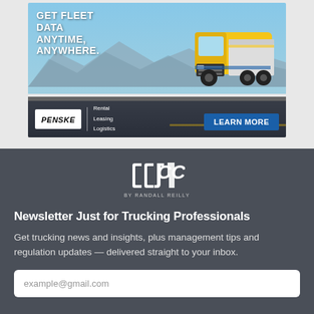[Figure (photo): Penske truck leasing advertisement banner. Shows a yellow semi truck on a desert highway with mountains in background. Text reads 'GET FLEET DATA ANYTIME, ANYWHERE.' with Penske logo, Rental/Leasing/Logistics services and a LEARN MORE button.]
[Figure (logo): CCJ by Randall Reilly logo — stylized CCJ letters in white on dark gray background]
Newsletter Just for Trucking Professionals
Get trucking news and insights, plus management tips and regulation updates — delivered straight to your inbox.
example@gmail.com